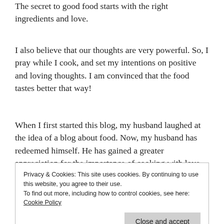The secret to good food starts with the right ingredients and love.
I also believe that our thoughts are very powerful. So, I pray while I cook, and set my intentions on positive and loving thoughts. I am convinced that the food tastes better that way!
When I first started this blog, my husband laughed at the idea of a blog about food. Now, my husband has redeemed himself. He has gained a greater appreciation for the importance of cooking with love and prayer. The power of prayer and positive thinking runs deep!
Privacy & Cookies: This site uses cookies. By continuing to use this website, you agree to their use.
To find out more, including how to control cookies, see here: Cookie Policy
dietary guidelines of the Jewish faith (Kashrut)